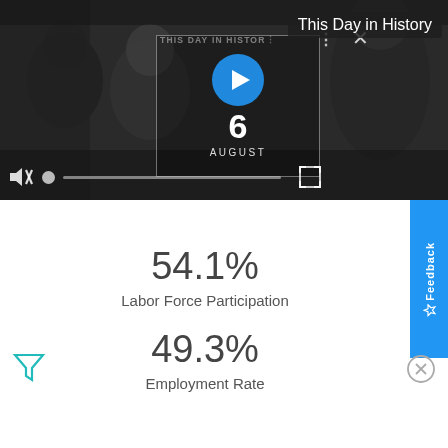[Figure (screenshot): Video player interface showing 'This Day in History' with a play button, date '6 August', mute icon, progress bar, and fullscreen button. Dark overlay with people in background.]
This Day in History
54.1%
Labor Force Participation
49.3%
Employment Rate